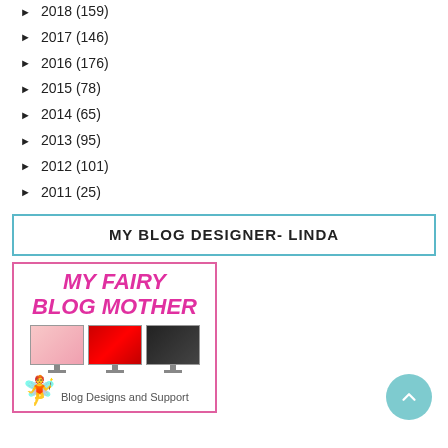► 2018 (159)
► 2017 (146)
► 2016 (176)
► 2015 (78)
► 2014 (65)
► 2013 (95)
► 2012 (101)
► 2011 (25)
MY BLOG DESIGNER- LINDA
[Figure (illustration): My Fairy Blog Mother advertisement showing three computer screens with blog designs and a fairy illustration, with text 'Blog Designs and Support']